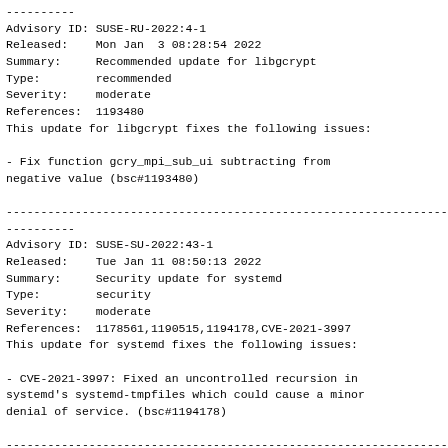----------
Advisory ID: SUSE-RU-2022:4-1
Released:    Mon Jan  3 08:28:54 2022
Summary:     Recommended update for libgcrypt
Type:        recommended
Severity:    moderate
References:  1193480
This update for libgcrypt fixes the following issues:

- Fix function gcry_mpi_sub_ui subtracting from
negative value (bsc#1193480)
----------
Advisory ID: SUSE-SU-2022:43-1
Released:    Tue Jan 11 08:50:13 2022
Summary:     Security update for systemd
Type:        security
Severity:    moderate
References:  1178561,1190515,1194178,CVE-2021-3997
This update for systemd fixes the following issues:

- CVE-2021-3997: Fixed an uncontrolled recursion in
systemd's systemd-tmpfiles which could cause a minor
denial of service. (bsc#1194178)
----------
Advisory ID: SUSE-SU-2022:64-1
Released:    Wed Jan 19 17:46:51 2022